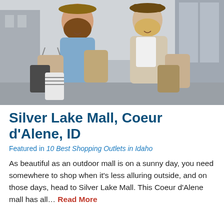[Figure (photo): Two young women smiling and carrying shopping bags outside a mall on a sunny day]
Silver Lake Mall, Coeur d'Alene, ID
Featured in 10 Best Shopping Outlets in Idaho
As beautiful as an outdoor mall is on a sunny day, you need somewhere to shop when it's less alluring outside, and on those days, head to Silver Lake Mall. This Coeur d'Alene mall has all… Read More